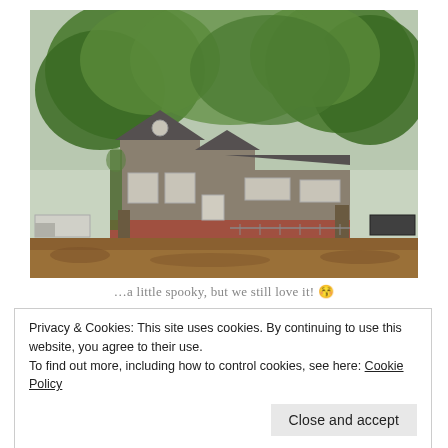[Figure (photo): Exterior photograph of a single-story house with cedar shake siding and brick foundation, partially obscured by large green trees. Brown leaf-covered ground in the foreground. A truck is visible on the left side.]
…a little spooky, but we still love it! 😚
Privacy & Cookies: This site uses cookies. By continuing to use this website, you agree to their use.
To find out more, including how to control cookies, see here: Cookie Policy
Close and accept